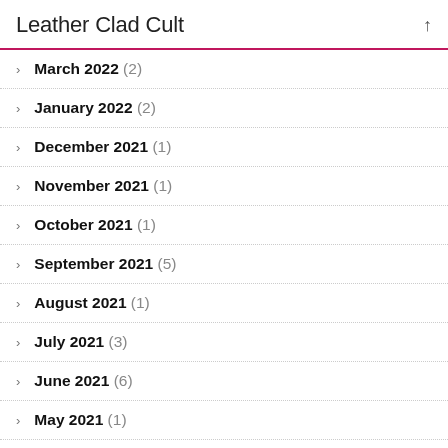Leather Clad Cult
March 2022 (2)
January 2022 (2)
December 2021 (1)
November 2021 (1)
October 2021 (1)
September 2021 (5)
August 2021 (1)
July 2021 (3)
June 2021 (6)
May 2021 (1)